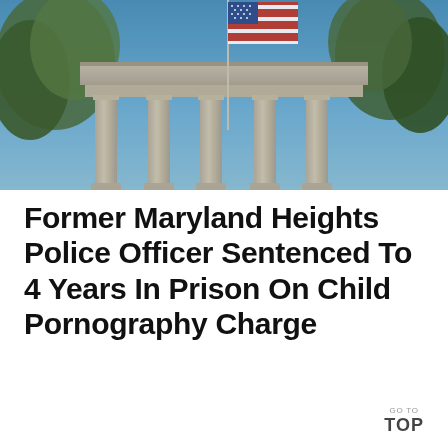[Figure (photo): Photograph of a government building with large classical columns and an American flag on a flagpole against a blue sky, with trees visible at edges.]
Former Maryland Heights Police Officer Sentenced To 4 Years In Prison On Child Pornography Charge
GO TO TOP